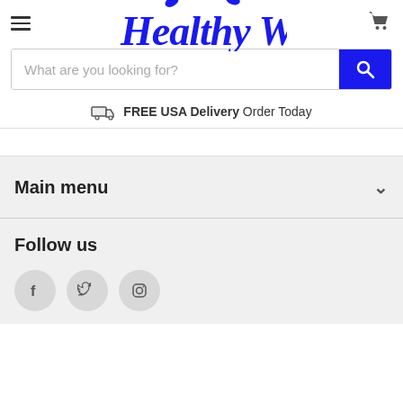[Figure (logo): Healthy Way logo in blue cursive script with leaf decorations]
[Figure (screenshot): Search bar with placeholder text 'What are you looking for?' and blue search button]
FREE USA Delivery Order Today
Main menu
Follow us
[Figure (infographic): Social media icons: Facebook, Twitter, Instagram in grey circles]